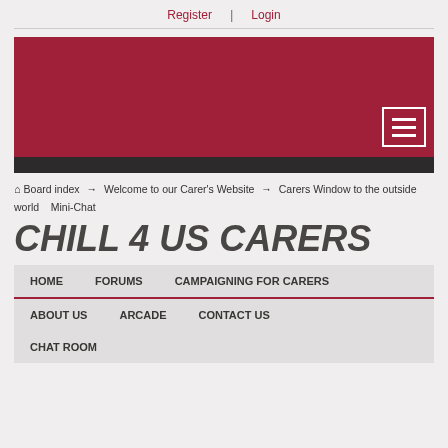Register | Login
[Figure (other): Red banner/header area with hamburger menu button in bottom right corner]
Board index → Welcome to our Carer's Website → Carers Window to the outside world Mini-Chat
CHILL 4 US CARERS
HOME   FORUMS   CAMPAIGNING FOR CARERS
ABOUT US   ARCADE   CONTACT US
CHAT ROOM